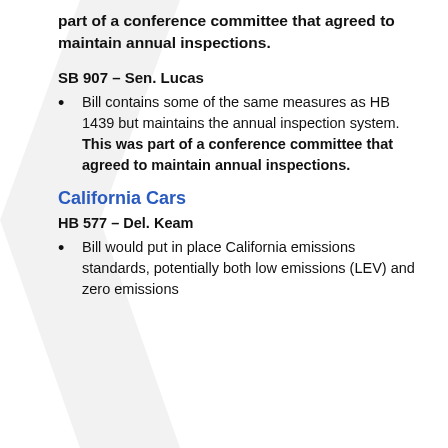part of a conference committee that agreed to maintain annual inspections.
SB 907 – Sen. Lucas
Bill contains some of the same measures as HB 1439 but maintains the annual inspection system. This was part of a conference committee that agreed to maintain annual inspections.
California Cars
HB 577 – Del. Keam
Bill would put in place California emissions standards, potentially both low emissions (LEV) and zero emissions